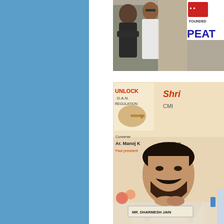[Figure (photo): Blue decorative panel on the left side of the page]
[Figure (photo): Top photo showing people at a PEAT event, with a banner visible in background reading FOUNDED and PEAT]
[Figure (photo): Bottom photo showing Mr. Dharmesh Jain seated at a conference table at an event with banner reading UNLOCK D.A.N. REGULATION and Shri... CMI... Convener Ar. Manoj... Man... Past President. A nameplate reads MR. DHARMESH JAIN.]